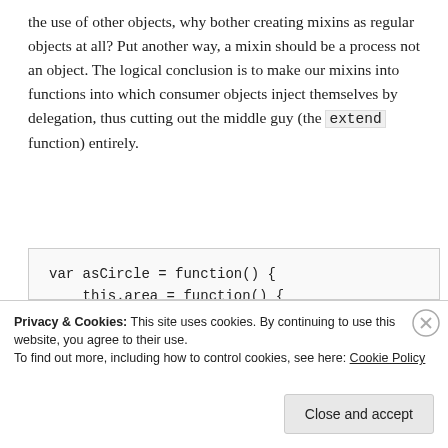the use of other objects, why bother creating mixins as regular objects at all? Put another way, a mixin should be a process not an object. The logical conclusion is to make our mixins into functions into which consumer objects inject themselves by delegation, thus cutting out the middle guy (the extend function) entirely.
[Figure (screenshot): Code block showing JavaScript: var asCircle = function() { this.area = function() { return Math.PI * this.radius * this.ra... }; this.grow = function() {]
Privacy & Cookies: This site uses cookies. By continuing to use this website, you agree to their use. To find out more, including how to control cookies, see here: Cookie Policy